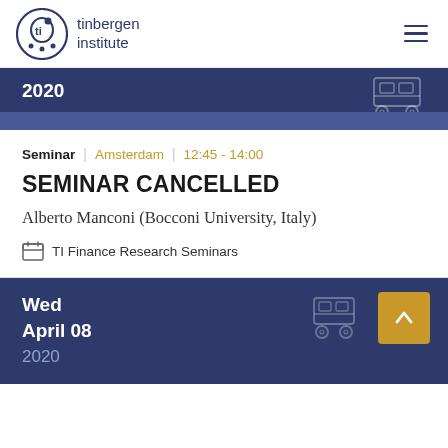tinbergen institute
[Figure (illustration): Tinbergen Institute logo — circular emblem with stylized figure and 'ti' letters in dark blue, next to text 'tinbergen institute']
2020
Seminar | Amsterdam | 12:45 - 14:00
SEMINAR CANCELLED
Alberto Manconi (Bocconi University, Italy)
TI Finance Research Seminars
Wed
April 08
2020